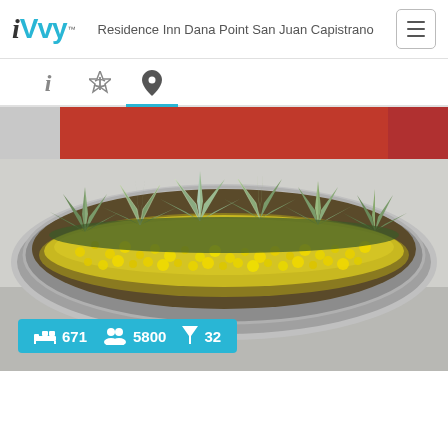iVvy — Residence Inn Dana Point San Juan Capistrano
[Figure (photo): Outdoor circular planter with yellow flowers and agave plants, red building element in background. Stats overlay shows 671 rooms, 5800 capacity, 32 meeting rooms.]
671  5800  32